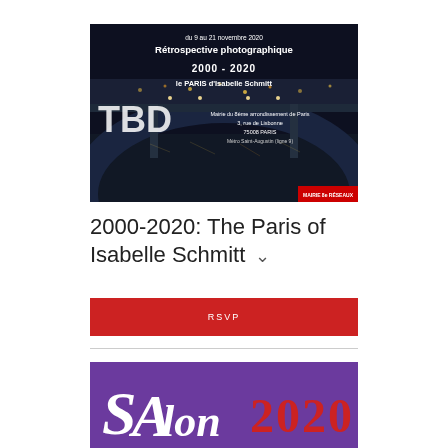[Figure (photo): Night photography event poster showing a bridge over the Seine river in Paris at night with text overlay: 'du 9 au 21 novembre 2020 / Rétrospective photographique / 2000 - 2020 / le PARIS d'Isabelle Schmitt / TBD / Mairie du 8ème arrondissement de Paris / 3, rue de Lisbonne / 75008 PARIS / Métro Saint-Augustin (ligne 9)']
2000-2020: The Paris of Isabelle Schmitt
[Figure (photo): Purple background poster with white and red stylized text reading 'SAlon 2020']